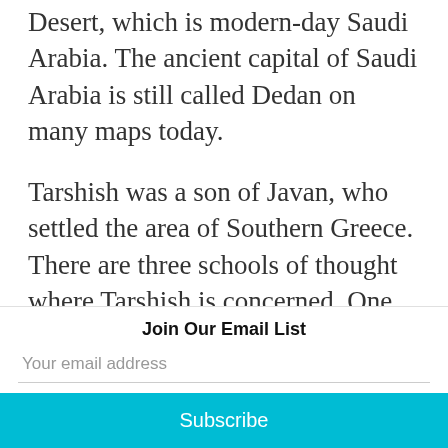Desert, which is modern-day Saudi Arabia. The ancient capital of Saudi Arabia is still called Dedan on many maps today.
Tarshish was a son of Javan, who settled the area of Southern Greece. There are three schools of thought where Tarshish is concerned. One view locates Tarshish to the East...
Join Our Email List
Your email address
Subscribe